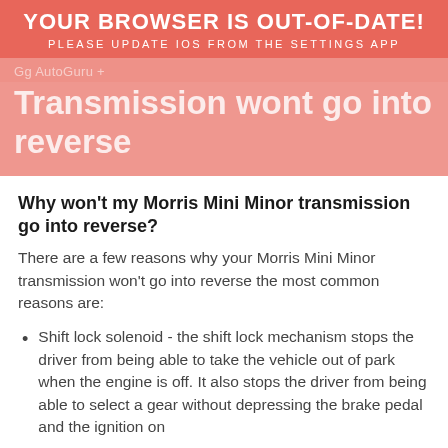YOUR BROWSER IS OUT-OF-DATE! PLEASE UPDATE IOS FROM THE SETTINGS APP
Transmission wont go into reverse
Why won't my Morris Mini Minor transmission go into reverse?
There are a few reasons why your Morris Mini Minor transmission won't go into reverse the most common reasons are:
Shift lock solenoid - the shift lock mechanism stops the driver from being able to take the vehicle out of park when the engine is off. It also stops the driver from being able to select a gear without depressing the brake pedal and the ignition on